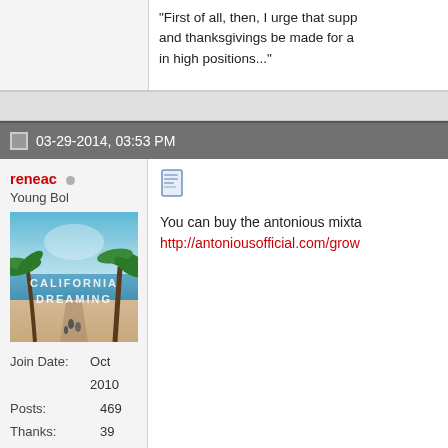"First of all, then, I urge that supp and thanksgivings be made for a in high positions..."
03-29-2014, 03:53 PM
reneac
Young Bol
[Figure (photo): California Dreaming beach scene with palm trees]
Join Date: Oct 2010
Posts: 469
Thanks: 39
Thanked 154 Times in 105 Posts
You can buy the antonious mixta http://antoniousofficial.com/grow